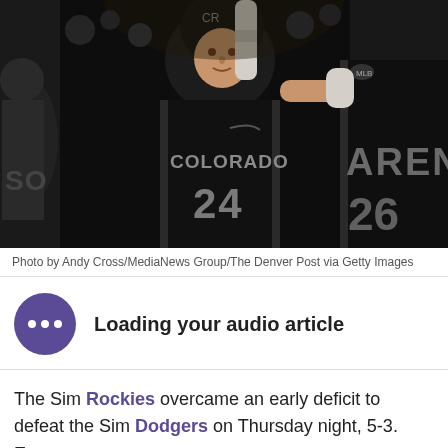[Figure (photo): Colorado Rockies player #24 in black jersey celebrating in dugout, giving thumbs up, with teammate wearing AREN jersey #26 visible on right. Photo taken at night game.]
Photo by Andy Cross/MediaNews Group/The Denver Post via Getty Images
Loading your audio article
The Sim Rockies overcame an early deficit to defeat the Sim Dodgers on Thursday night, 5-3. Every run